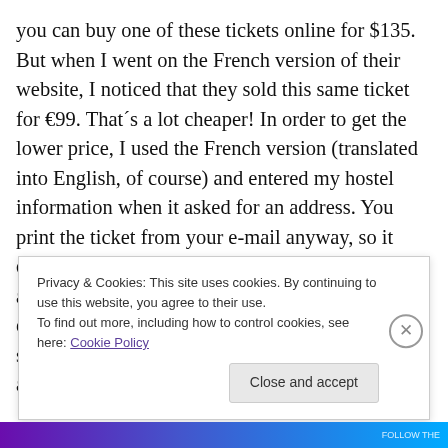you can buy one of these tickets online for $135. But when I went on the French version of their website, I noticed that they sold this same ticket for €99. That´s a lot cheaper! In order to get the lower price, I used the French version (translated into English, of course) and entered my hostel information when it asked for an address. You print the ticket from your e-mail anyway, so it doesn´t really matter what you enter for the address. After I bought this, I didn´t buy anything else from Disneyland. I brought my own snacks to sustain me, and I even got a free souvenir by asking at Guest Relations
Privacy & Cookies: This site uses cookies. By continuing to use this website, you agree to their use.
To find out more, including how to control cookies, see here: Cookie Policy
Close and accept